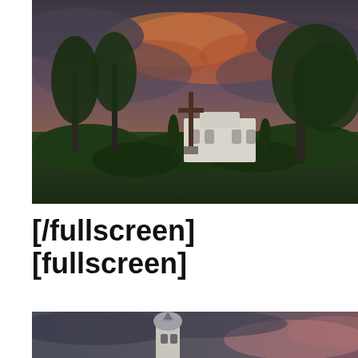[Figure (photo): Dramatic HDR landscape photo of a white baroque church with a large wooden cross in the foreground, surrounded by green trees and bushes, under a stormy sky with orange-pink clouds at sunset.]
[/fullscreen]
[fullscreen]
[Figure (photo): Partial photo showing the top of a church bell tower with an onion dome against a stormy pink-blue cloudy sky.]